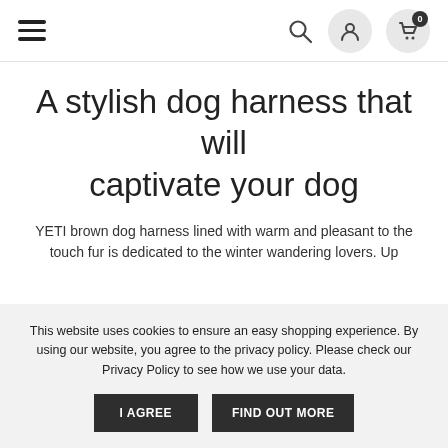Navigation bar with hamburger menu, search icon, account icon, and cart icon (0 items)
A stylish dog harness that will captivate your dog
YETI brown dog harness lined with warm and pleasant to the touch fur is dedicated to the winter wandering lovers. Up
This website uses cookies to ensure an easy shopping experience. By using our website, you agree to the privacy policy. Please check our Privacy Policy to see how we use your data. | I AGREE | FIND OUT MORE